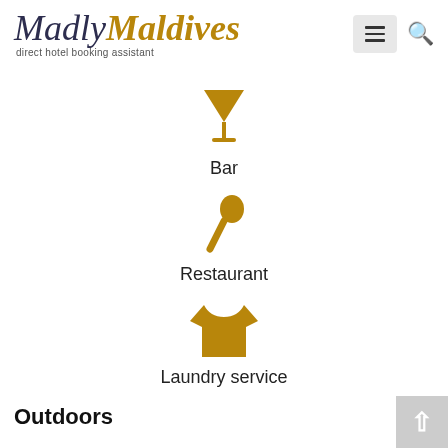[Figure (logo): MadlyMaldives logo with italic serif text, 'Madly' in dark navy and 'Maldives' in gold/amber, with tagline 'direct hotel booking assistant']
[Figure (infographic): Bar amenity icon - gold martini glass symbol]
Bar
[Figure (infographic): Restaurant amenity icon - gold spoon/fork symbol]
Restaurant
[Figure (infographic): Laundry service amenity icon - gold t-shirt symbol]
Laundry service
Outdoors